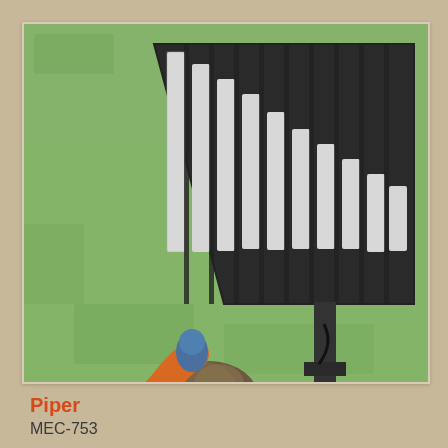[Figure (photo): A young child wearing an orange jacket and dark fleece vest, viewed from behind, reaching up to play a large outdoor pipe/xylophone musical instrument (a Piper). The instrument has multiple vertical metal pipes arranged from tall to short on a dark frame mounted on a post. The background is green grass in a park or playground setting.]
Piper
MEC-753